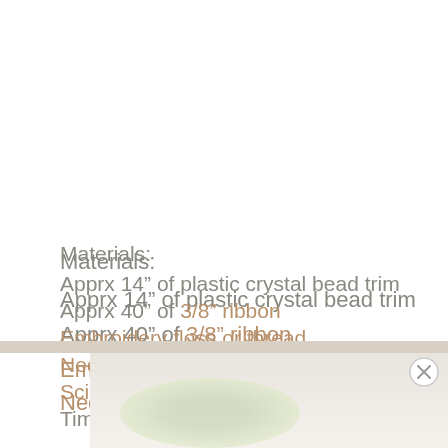Materials:
Apprx 14” of plastic crystal bead trim
Apprx 40” of 3/8” ribbon
Embroidery floss or thread
Needle
Scissors
Time: 30 minutes
[Figure (photo): Bottom portion of page showing a decorative craft item, partially visible, with a light beige/cream background and a close button (X) overlay in the bottom right corner.]